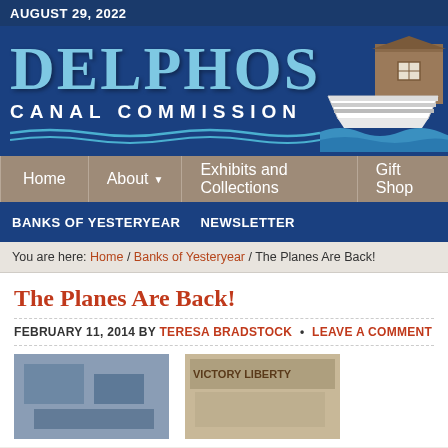AUGUST 29, 2022
[Figure (logo): Delphos Canal Commission logo with large blue DELPHOS text, CANAL COMMISSION subtitle in white, and a boat illustration on the right]
Home | About | Exhibits and Collections | Gift Shop
BANKS OF YESTERYEAR | NEWSLETTER
You are here: Home / Banks of Yesteryear / The Planes Are Back!
The Planes Are Back!
FEBRUARY 11, 2014 BY TERESA BRADSTOCK • LEAVE A COMMENT
[Figure (photo): Two photo thumbnails at the bottom of the page showing historical images related to the article]
VICTORY LIBERTY (visible on second image)